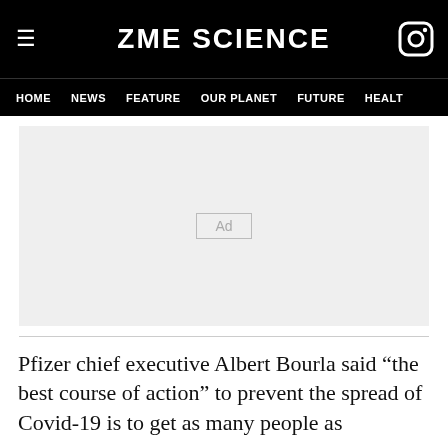ZME SCIENCE
HOME  NEWS  FEATURE  OUR PLANET  FUTURE  HEALT
[Figure (other): Advertisement placeholder box with 'Ad' label on light grey background]
Pfizer chief executive Albert Bourla said "the best course of action" to prevent the spread of Covid-19 is to get as many people as